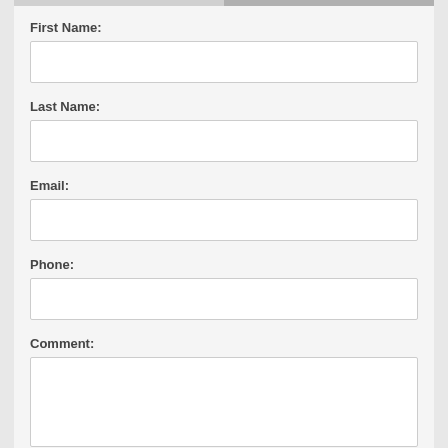First Name:
Last Name:
Email:
Phone:
Comment: